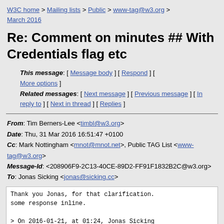W3C home > Mailing lists > Public > www-tag@w3.org > March 2016
Re: Comment on minutes ## With Credentials flag etc
This message: [ Message body ] [ Respond ] [ More options ] Related messages: [ Next message ] [ Previous message ] [ In reply to ] [ Next in thread ] [ Replies ]
From: Tim Berners-Lee <timbl@w3.org>
Date: Thu, 31 Mar 2016 16:51:47 +0100
Cc: Mark Nottingham <mnot@mnot.net>, Public TAG List <www-tag@w3.org>
Message-Id: <208906F9-2C13-40CE-89D2-FF91F1832B2C@w3.org>
To: Jonas Sicking <jonas@sicking.cc>
Thank you Jonas, for that clarification.
some response inline.

> On 2016-01-21, at 01:24, Jonas Sicking